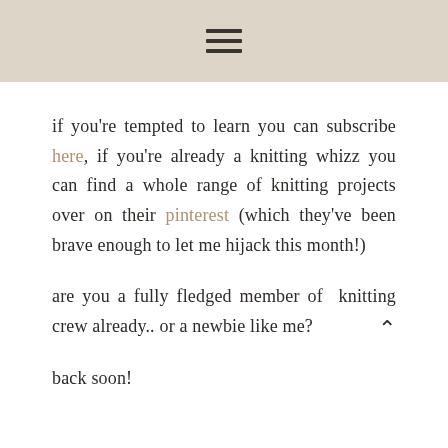≡
if you're tempted to learn you can subscribe here, if you're already a knitting whizz you can find a whole range of knitting projects over on their pinterest (which they've been brave enough to let me hijack this month!)
are you a fully fledged member of  knitting crew already.. or a newbie like me?
back soon!